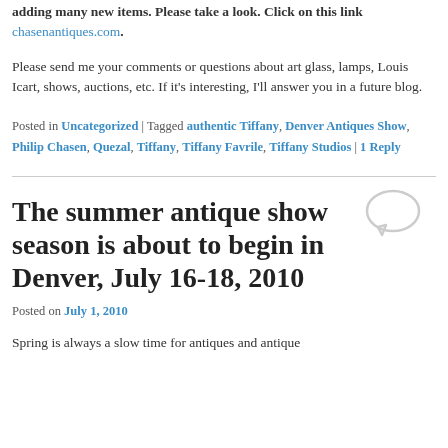adding many new items. Please take a look. Click on this link chasenantiques.com.
Please send me your comments or questions about art glass, lamps, Louis Icart, shows, auctions, etc. If it's interesting, I'll answer you in a future blog.
Posted in Uncategorized | Tagged authentic Tiffany, Denver Antiques Show, Philip Chasen, Quezal, Tiffany, Tiffany Favrile, Tiffany Studios | 1 Reply
The summer antique show season is about to begin in Denver, July 16-18, 2010
Posted on July 1, 2010
Spring is always a slow time for antiques and antique